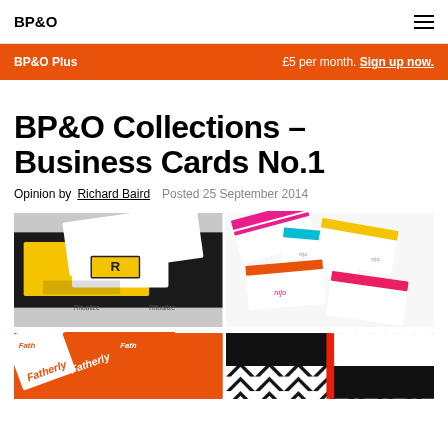BP&O
BP&O Plus   £5 per month. Sign up now.
BP&O Collections – Business Cards No.1
Opinion by Richard Baird   Posted 25 September 2014
[Figure (photo): Business cards with yellow backs and white fronts featuring a geometric R logo for Ritualize, stacked on a dark surface]
[Figure (photo): Colorful striped business cards in pink, yellow, teal, and orange scattered on a white surface]
[Figure (photo): Orange and white business cards for Fatherly brand arranged overlapping on a surface]
[Figure (photo): Black and white geometric pattern business cards with chevron/arrow design]